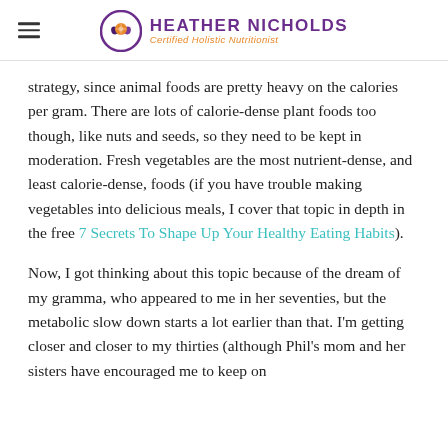HEATHER NICHOLDS — Certified Holistic Nutritionist
strategy, since animal foods are pretty heavy on the calories per gram. There are lots of calorie-dense plant foods too though, like nuts and seeds, so they need to be kept in moderation. Fresh vegetables are the most nutrient-dense, and least calorie-dense, foods (if you have trouble making vegetables into delicious meals, I cover that topic in depth in the free 7 Secrets To Shape Up Your Healthy Eating Habits).
Now, I got thinking about this topic because of the dream of my gramma, who appeared to me in her seventies, but the metabolic slow down starts a lot earlier than that. I'm getting closer and closer to my thirties (although Phil's mom and her sisters have encouraged me to keep on